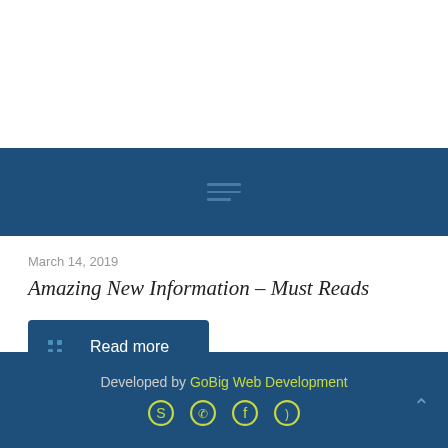[Figure (screenshot): White top area of a webpage]
[Figure (screenshot): Dark blue navigation banner with hamburger menu icon]
March 14, 2019
Amazing New Information – Must Reads
Read more
Developed by GoBig Web Development